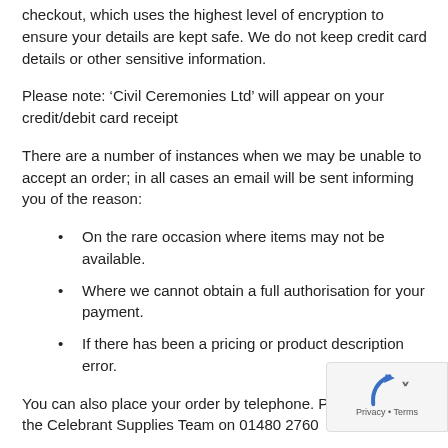checkout, which uses the highest level of encryption to ensure your details are kept safe. We do not keep credit card details or other sensitive information.
Please note: ‘Civil Ceremonies Ltd’ will appear on your credit/debit card receipt
There are a number of instances when we may be unable to accept an order; in all cases an email will be sent informing you of the reason:
On the rare occasion where items may not be available.
Where we cannot obtain a full authorisation for your payment.
If there has been a pricing or product description error.
You can also place your order by telephone. Please phone the Celebrant Supplies Team on 01480 2760...